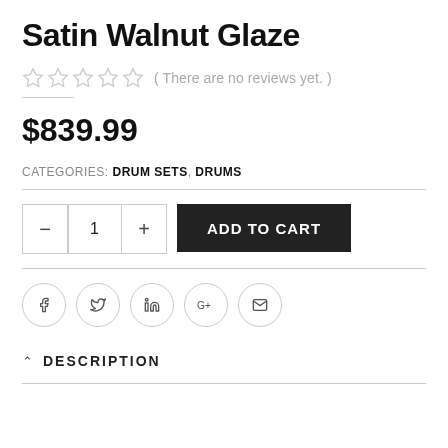Satin Walnut Glaze
( There are no reviews yet. )
$839.99
CATEGORIES: DRUM SETS, DRUMS
[Figure (other): Quantity selector with minus and plus buttons showing 1, and an Add to Cart button]
[Figure (other): Social sharing icons: Facebook, Twitter, LinkedIn, Google+, Email]
DESCRIPTION